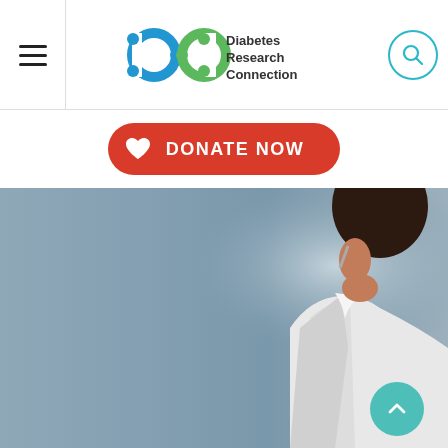[Figure (logo): Diabetes Research Connection logo with blue and green circular icon and text]
[Figure (illustration): Red donate now button with white heart icon]
[Figure (photo): Doctor or researcher in white coat and mask viewed from behind, with blue-grey background]